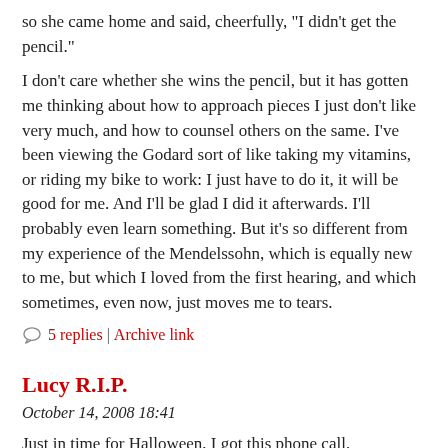so she came home and said, cheerfully, "I didn't get the pencil."
I don't care whether she wins the pencil, but it has gotten me thinking about how to approach pieces I just don't like very much, and how to counsel others on the same. I've been viewing the Godard sort of like taking my vitamins, or riding my bike to work: I just have to do it, it will be good for me. And I'll be glad I did it afterwards. I'll probably even learn something. But it's so different from my experience of the Mendelssohn, which is equally new to me, but which I loved from the first hearing, and which sometimes, even now, just moves me to tears.
5 replies | Archive link
Lucy R.I.P.
October 14, 2008 18:41
Just in time for Halloween, I got this phone call.